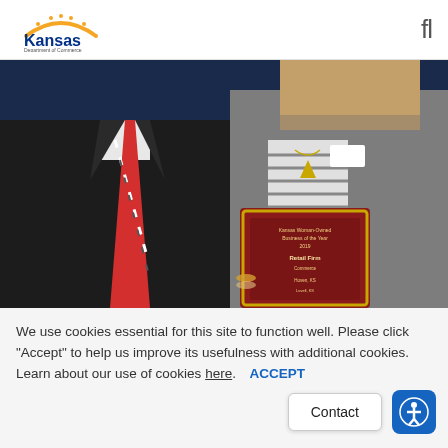Kansas Department of Commerce
[Figure (photo): Two people standing together; one in a dark suit with a red striped tie, the other in a grey cardigan holding a wooden award plaque that reads 'Kansas Woman-Owned Business of the Year 2019, Retail Firm' against a blue background.]
We use cookies essential for this site to function well. Please click "Accept" to help us improve its usefulness with additional cookies. Learn about our use of cookies here.  ACCEPT